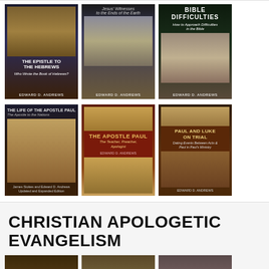[Figure (photo): Grid of 6 book covers: Row 1: 'The Epistle to the Hebrews', 'Jesus Witnesses to the Ends of the Earth', 'Bible Difficulties'. Row 2: 'The Life of the Apostle Paul', 'The Apostle Paul: The Teacher, Preacher, Apologist', 'Paul and Luke on Trial'.]
CHRISTIAN APOLOGETIC EVANGELISM
[Figure (photo): Partial view of three more book covers at the bottom of the page.]